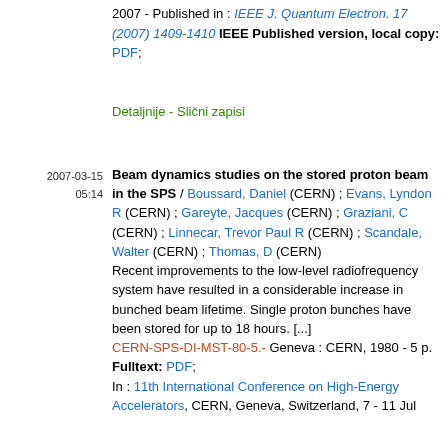2007 - Published in : IEEE J. Quantum Electron. 17 (2007) 1409-1410 IEEE Published version, local copy: PDF;
Detaljnije - Slični zapisi
2007-03-15 05:14
Beam dynamics studies on the stored proton beam in the SPS / Boussard, Daniel (CERN) ; Evans, Lyndon R (CERN) ; Gareyte, Jacques (CERN) ; Graziani, C (CERN) ; Linnecar, Trevor Paul R (CERN) ; Scandale, Walter (CERN) ; Thomas, D (CERN) Recent improvements to the low-level radiofrequency system have resulted in a considerable increase in bunched beam lifetime. Single proton bunches have been stored for up to 18 hours. [...] CERN-SPS-DI-MST-80-5.- Geneva : CERN, 1980 - 5 p. Fulltext: PDF; In : 11th International Conference on High-Energy Accelerators, CERN, Geneva, Switzerland, 7 - 11 Jul